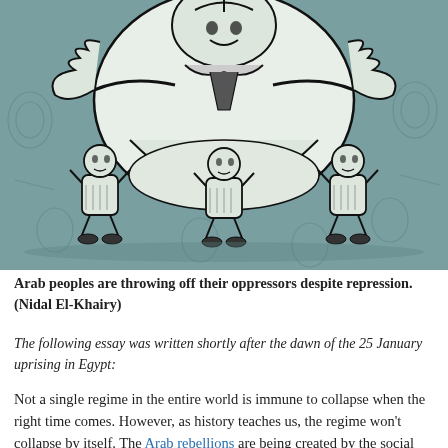[Figure (illustration): A political cartoon illustration on a teal/grey background showing a large figure being carried or supported by three smaller crouching figures underneath, with abstract repeated patterns in the background. The style is bold black line art on a muted teal ground, depicting oppression and the burden of the people.]
Arab peoples are throwing off their oppressors despite repression. (Nidal El-Khairy)
The following essay was written shortly after the dawn of the 25 January uprising in Egypt:
Not a single regime in the entire world is immune to collapse when the right time comes. However, as history teaches us, the regime won't collapse by itself. The Arab rebellions are being created by the social movement — by the people — in